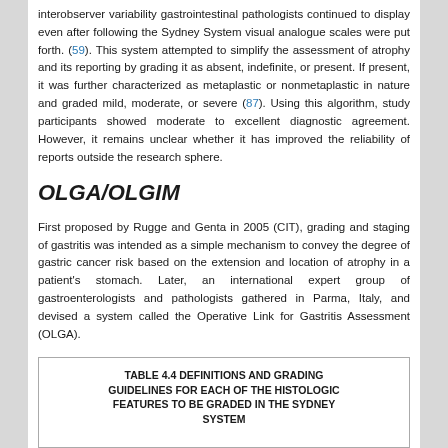interobserver variability gastrointestinal pathologists continued to display even after following the Sydney System visual analogue scales were put forth. (59). This system attempted to simplify the assessment of atrophy and its reporting by grading it as absent, indefinite, or present. If present, it was further characterized as metaplastic or nonmetaplastic in nature and graded mild, moderate, or severe (87). Using this algorithm, study participants showed moderate to excellent diagnostic agreement. However, it remains unclear whether it has improved the reliability of reports outside the research sphere.
OLGA/OLGIM
First proposed by Rugge and Genta in 2005 (CIT), grading and staging of gastritis was intended as a simple mechanism to convey the degree of gastric cancer risk based on the extension and location of atrophy in a patient's stomach. Later, an international expert group of gastroenterologists and pathologists gathered in Parma, Italy, and devised a system called the Operative Link for Gastritis Assessment (OLGA).
TABLE 4.4 DEFINITIONS AND GRADING GUIDELINES FOR EACH OF THE HISTOLOGIC FEATURES TO BE GRADED IN THE SYDNEY SYSTEM